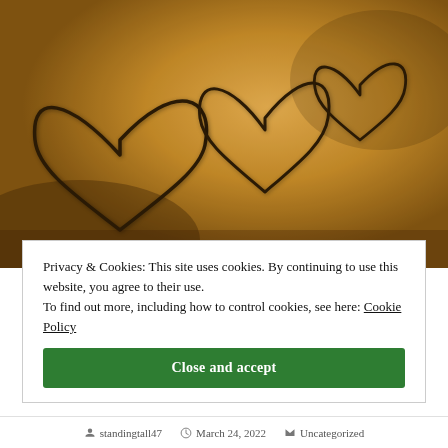[Figure (photo): Two overlapping heart shapes drawn in sand on a sandy beach surface, warm golden/brown tones]
Privacy & Cookies: This site uses cookies. By continuing to use this website, you agree to their use.
To find out more, including how to control cookies, see here: Cookie Policy
Close and accept
standingtall47   March 24, 2022   Uncategorized